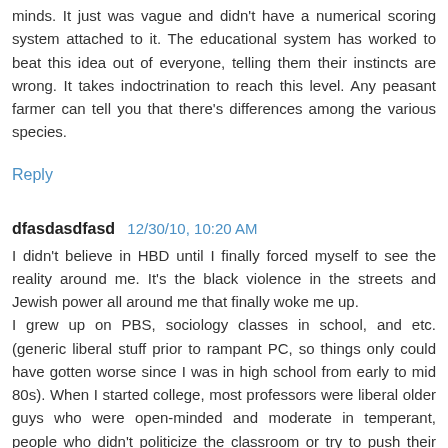minds. It just was vague and didn't have a numerical scoring system attached to it. The educational system has worked to beat this idea out of everyone, telling them their instincts are wrong. It takes indoctrination to reach this level. Any peasant farmer can tell you that there's differences among the various species.
Reply
dfasdasdfasd  12/30/10, 10:20 AM
I didn't believe in HBD until I finally forced myself to see the reality around me. It's the black violence in the streets and Jewish power all around me that finally woke me up. I grew up on PBS, sociology classes in school, and etc. (generic liberal stuff prior to rampant PC, so things only could have gotten worse since I was in high school from early to mid 80s). When I started college, most professors were liberal older guys who were open-minded and moderate in temperant, people who didn't politicize the classroom or try to push their agenda onto students. But they began retire en masse and by late 80s, boomer